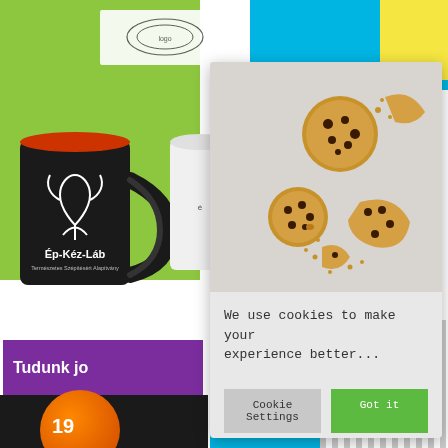[Figure (screenshot): A website screenshot showing a cookie consent modal overlay on top of a branded design portfolio page. The background shows a colorful brand identity mockup with a black mug labeled Ép-Kéz-Láb, a green background, purple band, and a transit advertisement panel. On top is a light gray modal card with a photo of chocolate chip cookies (some broken), and below the photo the text 'We use cookies to make your experience better...' with two buttons: 'Cookie Settings' (gray) and 'Got it' (green).]